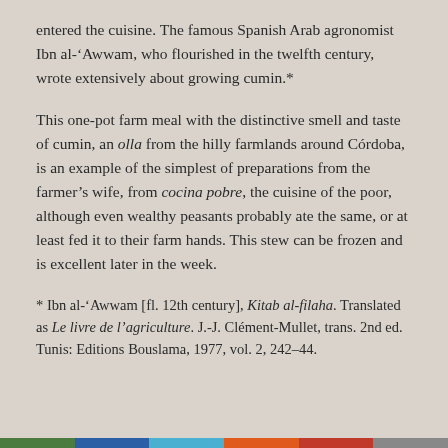entered the cuisine. The famous Spanish Arab agronomist Ibn al-'Awwam, who flourished in the twelfth century, wrote extensively about growing cumin.*
This one-pot farm meal with the distinctive smell and taste of cumin, an olla from the hilly farmlands around Córdoba, is an example of the simplest of preparations from the farmer's wife, from cocina pobre, the cuisine of the poor, although even wealthy peasants probably ate the same, or at least fed it to their farm hands. This stew can be frozen and is excellent later in the week.
* Ibn al-'Awwam [fl. 12th century], Kitab al-filaha. Translated as Le livre de l'agriculture. J.-J. Clément-Mullet, trans. 2nd ed. Tunis: Editions Bouslama, 1977, vol. 2, 242–44.